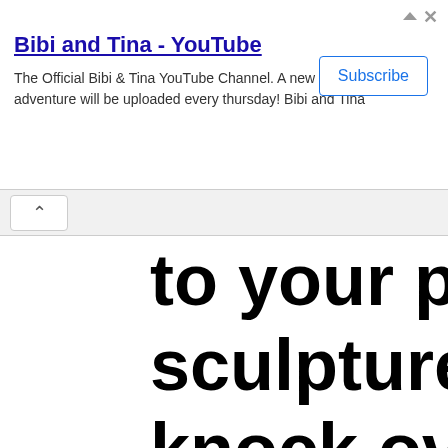[Figure (screenshot): YouTube advertisement banner for 'Bibi and Tina' channel with Subscribe button and close/arrow icons in top right]
Bibi and Tina - YouTube
The Official Bibi & Tina YouTube Channel. A new adventure will be uploaded every thursday! Bibi and Tina
Subscribe
to your paintings, dr sculptures. Cats and knock over pieces o topple from shelves rats can gnaw on fr through canvases. D moths and silverfish